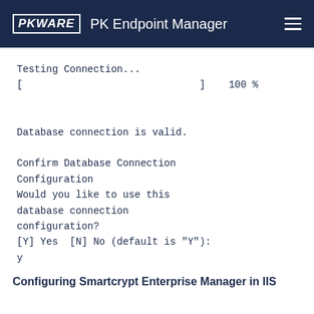PKWARE  PK Endpoint Manager
Testing Connection...
[                              ]    100 %


Database connection is valid.

Confirm Database Connection
Configuration
Would you like to use this
database connection
configuration?
[Y] Yes  [N] No (default is "Y"):
y
Configuring Smartcrypt Enterprise Manager in IIS